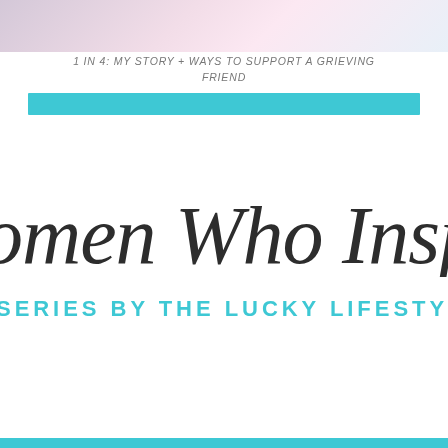[Figure (photo): Top image strip showing partial photo collage with pink and light blue tones, partially cropped]
1 IN 4: MY STORY + WAYS TO SUPPORT A GRIEVING FRIEND
[Figure (other): Teal/turquoise horizontal decorative bar]
omen Who Insp
SERIES BY THE LUCKY LIFESTYL
[Figure (other): Teal/turquoise horizontal bar at bottom of page]